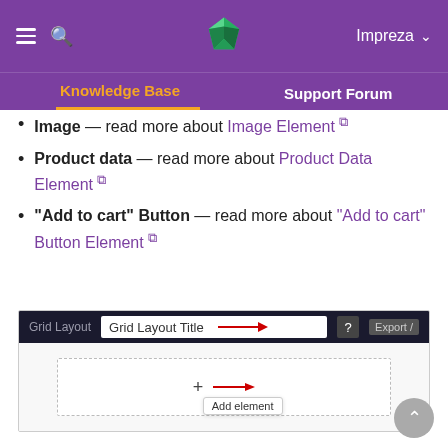Impreza - Knowledge Base / Support Forum navigation header
Image — read more about Image Element
Product data — read more about Product Data Element
"Add to cart" Button — read more about "Add to cart" Button Element
[Figure (screenshot): Screenshot of a Grid Layout editor UI showing a title input field labeled 'Grid Layout Title' with a red arrow pointing to it, and a dashed content area with a '+' Add element button also marked with a red arrow.]